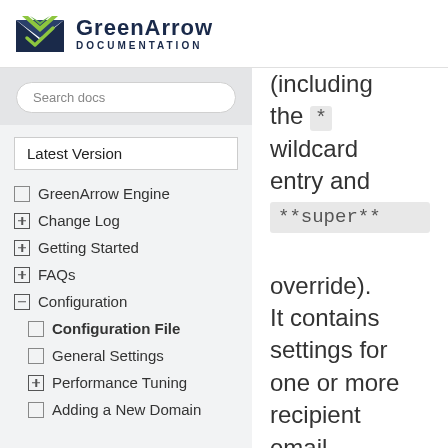GreenArrow DOCUMENTATION
Search docs
Latest Version
GreenArrow Engine
Change Log
Getting Started
FAQs
Configuration
Configuration File
General Settings
Performance Tuning
Adding a New Domain
(including the * wildcard entry and **super** override). It contains settings for one or more recipient email address domain.